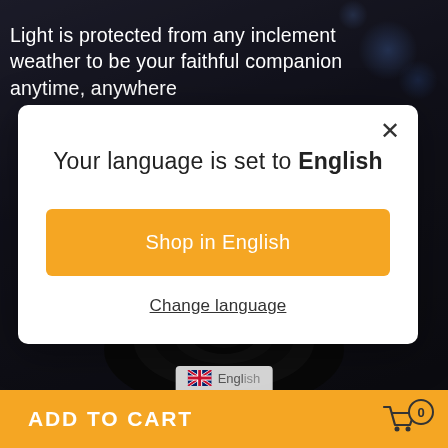[Figure (screenshot): Dark background with bokeh lights and camera lens, e-commerce product page backdrop]
Light is protected from any inclement weather to be your faithful companion anytime, anywhere
[Figure (screenshot): Modal dialog popup: 'Your language is set to English' with 'Shop in English' orange button and 'Change language' link, plus close X button]
Your language is set to English
Shop in English
Change language
ADD TO CART